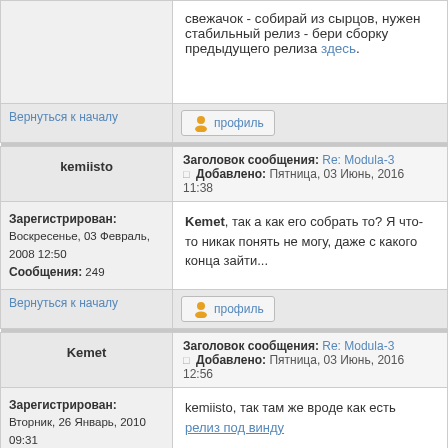свежачок - собирай из сырцов, нужен стабильный релиз - бери сборку предыдущего релиза здесь.
Вернуться к началу
профиль
kemiisto
Заголовок сообщения: Re: Modula-3 Добавлено: Пятница, 03 Июнь, 2016 11:38
Зарегистрирован: Воскресенье, 03 Февраль, 2008 12:50 Сообщения: 249
Kemet, так а как его собрать то? Я что-то никак понять не могу, даже с какого конца зайти...
Вернуться к началу
профиль
Kemet
Заголовок сообщения: Re: Modula-3 Добавлено: Пятница, 03 Июнь, 2016 12:56
Зарегистрирован: Вторник, 26 Январь, 2010 09:31 Сообщения: 717 Откуда: Барнаул
kemiisto, так там же вроде как есть релиз под винду
Вернуться к началу
профиль